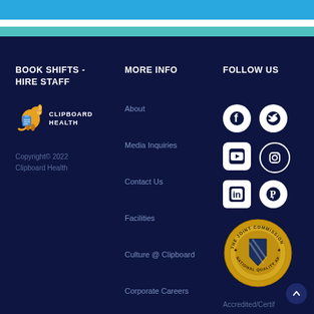Clipboard Health website header bar
BOOK SHIFTS - HIRE STAFF
[Figure (logo): Clipboard Health logo with cartoon kangaroo mascot and text CLIPBOARD HEALTH]
Copyright© 2022 Clipboard Health
MORE INFO
About
Media Inquiries
Contact Us
Facilities
Culture @ Clipboard
Corporate Careers
Sign Up Now
FOLLOW US
[Figure (infographic): Social media icons: Facebook, Twitter, YouTube, Instagram, LinkedIn, Pinterest]
[Figure (illustration): The Joint Commission National Quality Approval gold seal badge]
Accredited/Certif